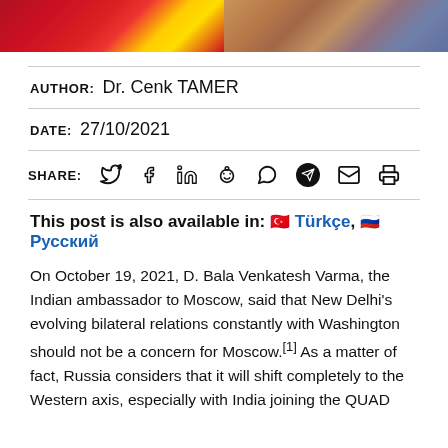[Figure (photo): Banner image with Chinese flag on left side (red with yellow stars) and Indian cityscape on right side]
AUTHOR: Dr. Cenk TAMER
DATE: 27/10/2021
SHARE: [Twitter] [Facebook] [LinkedIn] [Reddit] [WhatsApp] [Telegram] [Email] [Print]
This post is also available in: 🇹🇷 Türkçe, 🇷🇺 Русский
On October 19, 2021, D. Bala Venkatesh Varma, the Indian ambassador to Moscow, said that New Delhi's evolving bilateral relations constantly with Washington should not be a concern for Moscow.[1] As a matter of fact, Russia considers that it will shift completely to the Western axis, especially with India joining the QUAD